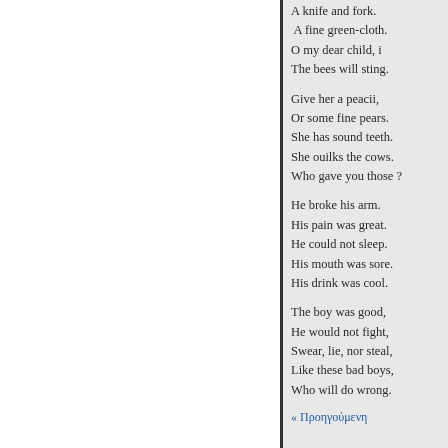A knife and fork.
 A fine green-cloth.
O my dear child, i
The bees will sting.

Give her a peacii,
Or some fine pears.
She has sound teeth.
She ouilks the cows.
Who gave you those ?

He broke his arm.
His pain was great.
He could not sleep.
His mouth was sore.
His drink was cool.

The boy was good,
He would not fight,
Swear, lie, nor steal,
Like these bad boys,
Who will do wrong.
« Προηγούμενη